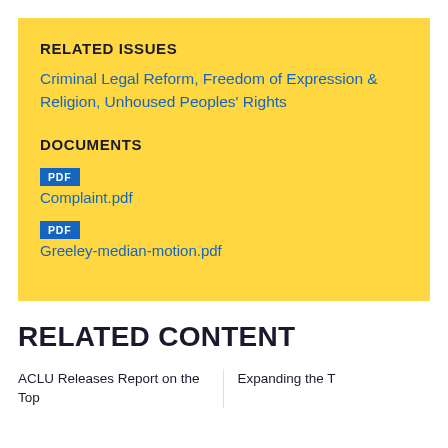RELATED ISSUES
Criminal Legal Reform, Freedom of Expression & Religion, Unhoused Peoples' Rights
DOCUMENTS
PDF
Complaint.pdf
PDF
Greeley-median-motion.pdf
RELATED CONTENT
ACLU Releases Report on the Top
Expanding the T